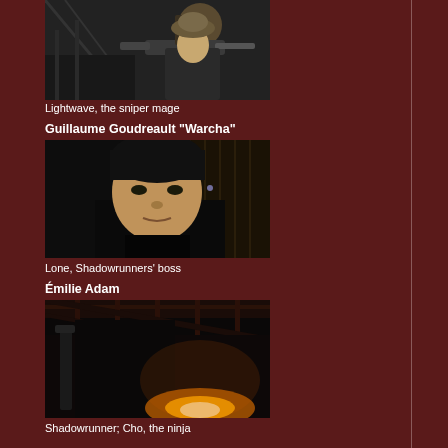[Figure (photo): Person aiming a rifle/sniper weapon, wearing a hat, dark indoor setting]
Lightwave, the sniper mage
Guillaume Goudreault "Warcha"
[Figure (photo): Portrait of a man with dark hair in a dark indoor setting, looking at camera]
Lone, Shadowrunners' boss
Émilie Adam
[Figure (photo): Person in dark clothing in a dimly lit indoor/warehouse setting with warm light at bottom]
Shadowrunner; Cho, the ninja